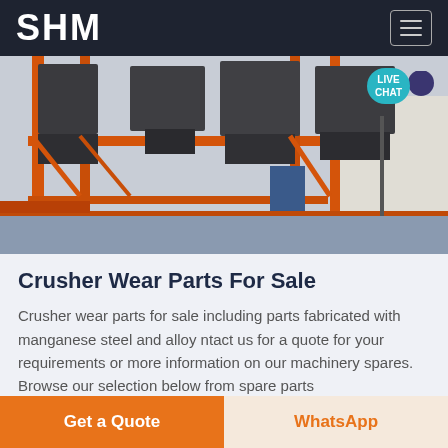SHM
[Figure (photo): Industrial crusher/screening machinery mounted on orange steel frame structures inside a facility. Large metal hoppers and conveyor components visible.]
Crusher Wear Parts For Sale
Crusher wear parts for sale including parts fabricated with manganese steel and alloy ntact us for a quote for your requirements or more information on our machinery spares. Browse our selection below from spare parts